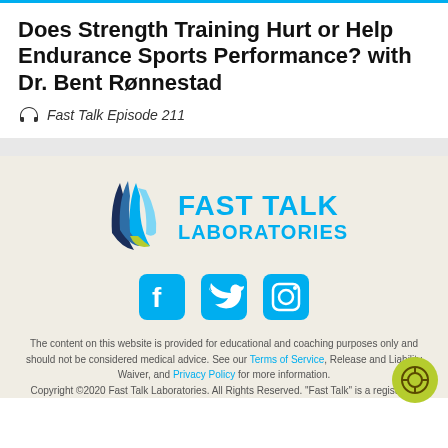Does Strength Training Hurt or Help Endurance Sports Performance? with Dr. Bent Rønnestad
Fast Talk Episode 211
[Figure (logo): Fast Talk Laboratories logo with swoosh graphic in blue-green gradient and bold blue text reading FAST TALK LABORATORIES]
[Figure (infographic): Social media icons: Facebook, Twitter, Instagram in blue rounded rectangle buttons]
The content on this website is provided for educational and coaching purposes only and should not be considered medical advice. See our Terms of Service, Release and Liability Waiver, and Privacy Policy for more information. Copyright ©2020 Fast Talk Laboratories. All Rights Reserved. "Fast Talk" is a registered trademark.